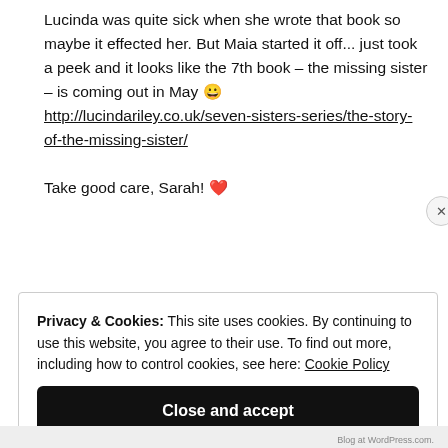Lucinda was quite sick when she wrote that book so maybe it effected her. But Maia started it off... just took a peek and it looks like the 7th book – the missing sister – is coming out in May 😀 http://lucindariley.co.uk/seven-sisters-series/the-story-of-the-missing-sister/
Take good care, Sarah! ❤
Privacy & Cookies: This site uses cookies. By continuing to use this website, you agree to their use. To find out more, including how to control cookies, see here: Cookie Policy
Close and accept